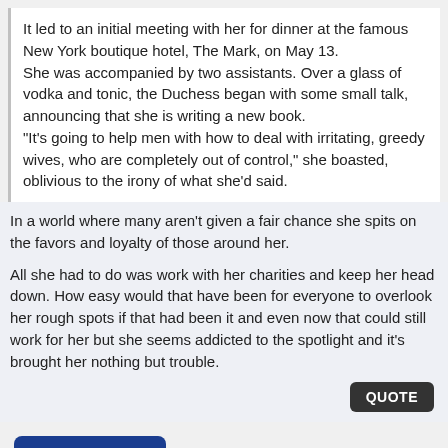It led to an initial meeting with her for dinner at the famous New York boutique hotel, The Mark, on May 13. She was accompanied by two assistants. Over a glass of vodka and tonic, the Duchess began with some small talk, announcing that she is writing a new book. "It's going to help men with how to deal with irritating, greedy wives, who are completely out of control," she boasted, oblivious to the irony of what she'd said.
In a world where many aren't given a fair chance she spits on the favors and loyalty of those around her.
All she had to do was work with her charities and keep her head down. How easy would that have been for everyone to overlook her rough spots if that had been it and even now that could still work for her but she seems addicted to the spotlight and it's brought her nothing but trouble.
QUOTE
New Reply
Page 18 of 55   « First   < Prev   Next >   Last »
« Sarah's Interviews and Television Appearances | General Information &